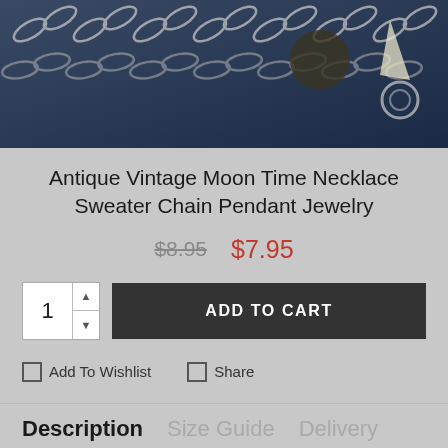[Figure (photo): Close-up photo of an antique-style necklace with chain and pendant on a dark blue background]
Antique Vintage Moon Time Necklace Sweater Chain Pendant Jewelry
$8.95  $7.95
1  ADD TO CART
Add To Wishlist   Share
Description   Size Guide   Delivery